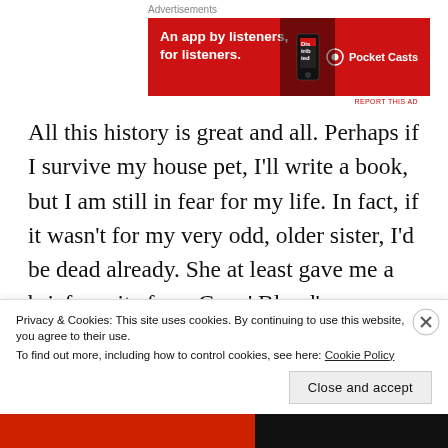Advertisements
[Figure (other): Red banner advertisement for Pocket Casts app. Text: 'An app by listeners, for listeners.' with Pocket Casts logo and a phone image. Also shows 'REPORT THIS AD' link.]
All this history is great and all. Perhaps if I survive my house pet, I'll write a book, but I am still in fear for my life. In fact, if it wasn't for my very odd, older sister, I'd be dead already. She at least gave me a brief respite from Capn' Blood's murderous marauding's. You see she has several animals she calls pets. Honestly, they all pretty much take care of themselves because snakes,
Privacy & Cookies: This site uses cookies. By continuing to use this website, you agree to their use. To find out more, including how to control cookies, see here: Cookie Policy
Close and accept